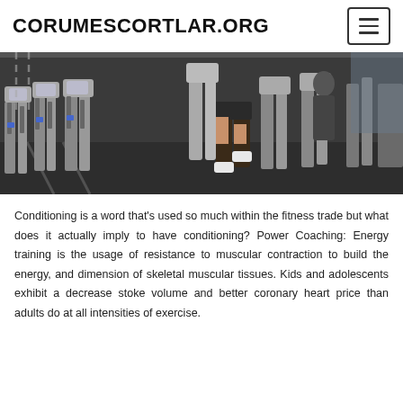CORUMESCORTLAR.ORG
[Figure (photo): People exercising on elliptical machines and exercise bikes in a gym. The photo shows multiple cardio machines in a fitness center with a person in shorts and sneakers visible on one of the machines.]
Conditioning is a word that's used so much within the fitness trade but what does it actually imply to have conditioning? Power Coaching: Energy training is the usage of resistance to muscular contraction to build the energy, and dimension of skeletal muscular tissues. Kids and adolescents exhibit a decrease stoke volume and better coronary heart price than adults do at all intensities of exercise.